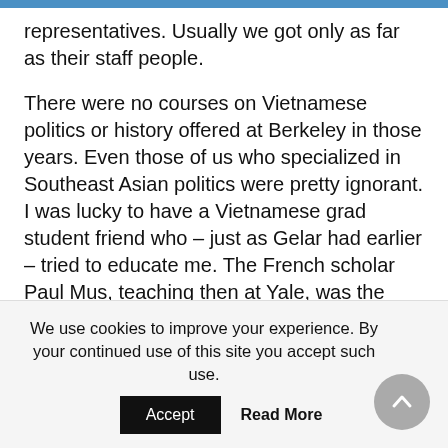representatives. Usually we got only as far as their staff people.

There were no courses on Vietnamese politics or history offered at Berkeley in those years. Even those of us who specialized in Southeast Asian politics were pretty ignorant. I was lucky to have a Vietnamese grad student friend who – just as Gelar had earlier – tried to educate me. The French scholar Paul Mus, teaching then at Yale, was the premier scholar on Vietnam in the United States. The first full-length account I ever read about Vietnamese political history was Frances Fitzgerald's stunning series of articles published
We use cookies to improve your experience. By your continued use of this site you accept such use.